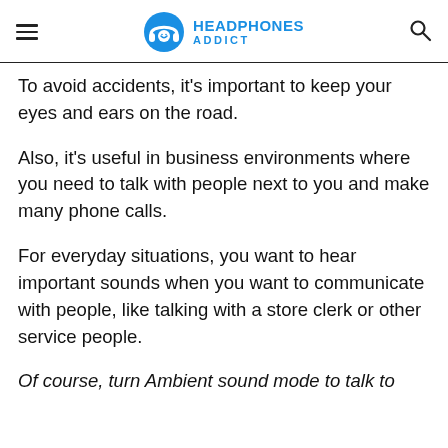HEADPHONES ADDICT
To avoid accidents, it's important to keep your eyes and ears on the road.
Also, it's useful in business environments where you need to talk with people next to you and make many phone calls.
For everyday situations, you want to hear important sounds when you want to communicate with people, like talking with a store clerk or other service people.
Of course, turn Ambient sound mode to talk to